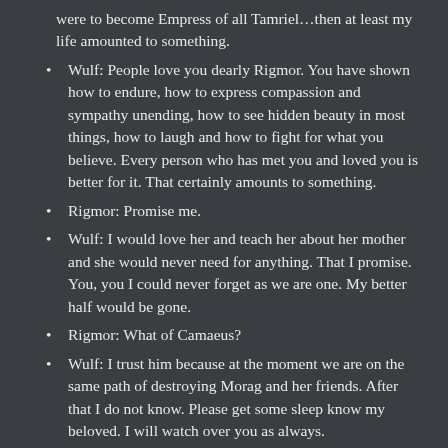were to become Empress of all Tamriel…then at least my life amounted to something.
Wulf: People love you dearly Rigmor. You have shown how to endure, how to express compassion and sympathy unending, how to see hidden beauty in most things, how to laugh and how to fight for what you believe. Every person who has met you and loved you is better for it. That certainly amounts to something.
Rigmor: Promise me.
Wulf: I would love her and teach her about her mother and she would never need for anything. That I promise. You, you I could never forget as we are one. My better half would be gone.
Rigmor: What of Camaeus?
Wulf: I trust him because at the moment we are on the same path of destroying Morag and her friends. After that I do not know. Please get some sleep know my beloved. I will watch over you as always.
Rigmor: We will make it tomorrow. Goodnight my